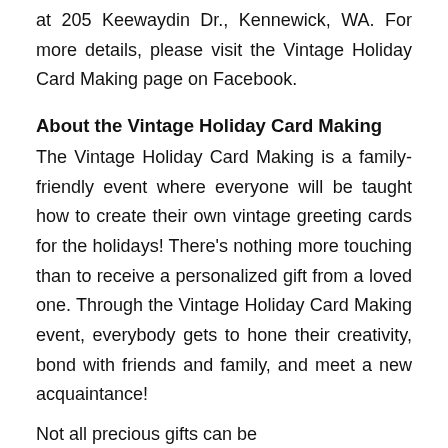at 205 Keewaydin Dr., Kennewick, WA. For more details, please visit the Vintage Holiday Card Making page on Facebook.
About the Vintage Holiday Card Making
The Vintage Holiday Card Making is a family-friendly event where everyone will be taught how to create their own vintage greeting cards for the holidays! There's nothing more touching than to receive a personalized gift from a loved one. Through the Vintage Holiday Card Making event, everybody gets to hone their creativity, bond with friends and family, and meet a new acquaintance!
Not all precious gifts can be